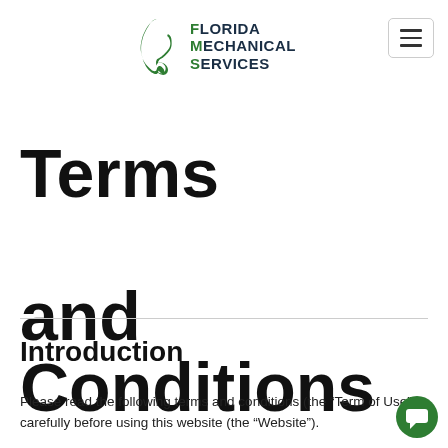Florida Mechanical Services
Terms and Conditions
Introduction
Please read the following terms and conditions (the “Term of Use”) carefully before using this website (the “Website”).